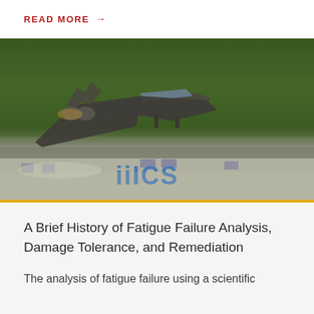READ MORE →
[Figure (photo): Military stealth fighter jet (F-22 Raptor) taking off or flying at low altitude in front of a forested hillside, with a building visible below showing partial text 'ICS'. A gold/yellow horizontal bar appears at the bottom of the image.]
A Brief History of Fatigue Failure Analysis, Damage Tolerance, and Remediation
The analysis of fatigue failure using a scientific